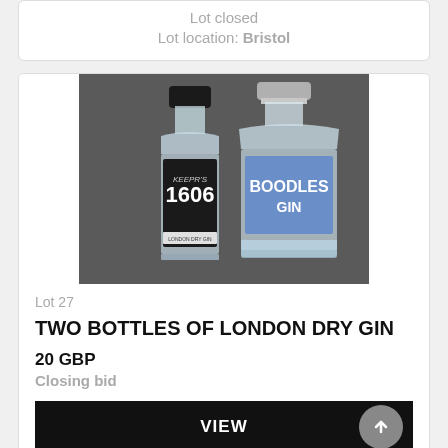Lot closed
Lot location: Bristol
[Figure (photo): Two bottles of gin: Keepr's 1606 gin on the left with black cap, and Boodles Gin on the right with silver cap and blue label, photographed against a dark grey background.]
Lot 27
TWO BOTTLES OF LONDON DRY GIN
20 GBP
Closing bid
VIEW
Lot closed